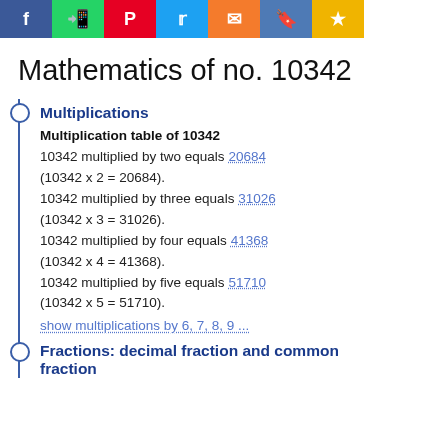[Figure (other): Social media sharing icons bar: Facebook, WhatsApp, Pinterest, Twitter, Email, Bookmark, Star]
Mathematics of no. 10342
Multiplications
Multiplication table of 10342
10342 multiplied by two equals 20684 (10342 x 2 = 20684).
10342 multiplied by three equals 31026 (10342 x 3 = 31026).
10342 multiplied by four equals 41368 (10342 x 4 = 41368).
10342 multiplied by five equals 51710 (10342 x 5 = 51710).
show multiplications by 6, 7, 8, 9 ...
Fractions: decimal fraction and common fraction